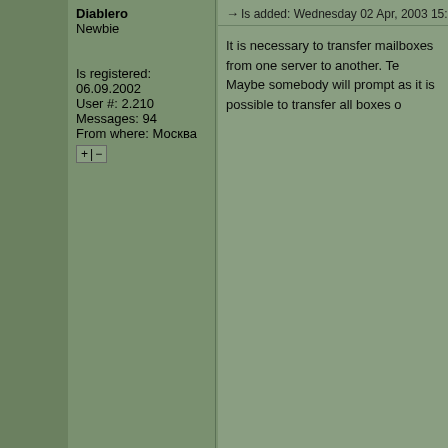Diablero
Newbie
Is registered: 06.09.2002
User #: 2.210
Messages: 94
From where: Москва
[+|-]
→ Is added: Wednesday 02 Apr, 2003 15:39   Message heading: Перенос ящи
It is necessary to transfer mailboxes from one server to another. Te
Maybe somebody will prompt as it is possible to transfer all boxes о
To return to the beginning
профиль   приват   фотки